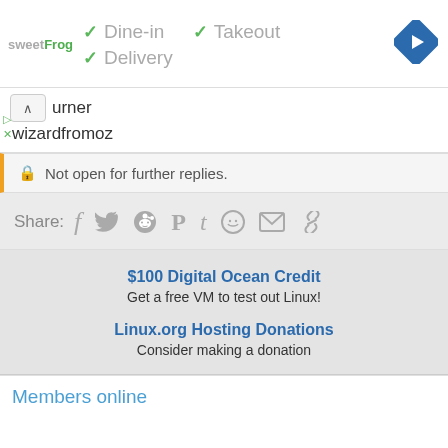[Figure (infographic): sweetFrog logo with dine-in, takeout, delivery checkmarks and a blue navigation diamond icon]
urner
wizardfromoz
Not open for further replies.
Share:
$100 Digital Ocean Credit
Get a free VM to test out Linux!
Linux.org Hosting Donations
Consider making a donation
Members online